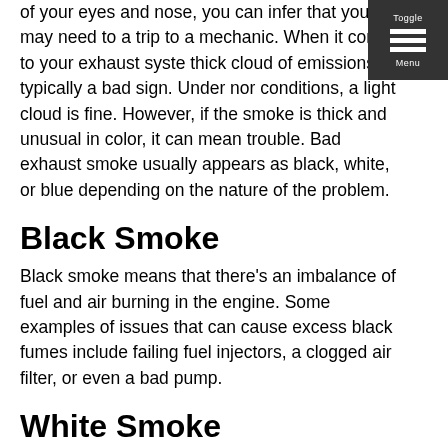of your eyes and nose, you can infer that you may need to a trip to a mechanic. When it comes to your exhaust system, thick cloud of emissions is typically a bad sign. Under normal conditions, a light cloud is fine. However, if the smoke is thick and unusual in color, it can mean trouble. Bad exhaust smoke usually appears as black, white, or blue depending on the nature of the problem.
Black Smoke
Black smoke means that there's an imbalance of fuel and air burning in the engine. Some examples of issues that can cause excess black fumes include failing fuel injectors, a clogged air filter, or even a bad pump.
White Smoke
White smoke is a sign that your head gasket is leaking and trickling coolant into the combustion chamber of the engine. Other ways coolant can drip into the chamber is a cracked engine block and faulty cylinder head.
Blue Smoke